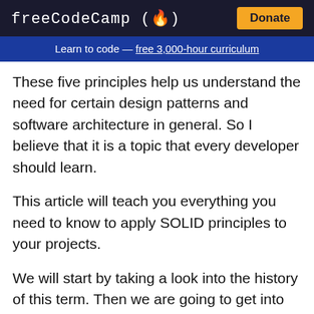freeCodeCamp(🔥) Donate
Learn to code — free 3,000-hour curriculum
These five principles help us understand the need for certain design patterns and software architecture in general. So I believe that it is a topic that every developer should learn.
This article will teach you everything you need to know to apply SOLID principles to your projects.
We will start by taking a look into the history of this term. Then we are going to get into the nitty-gritty details – the why's and how's of each